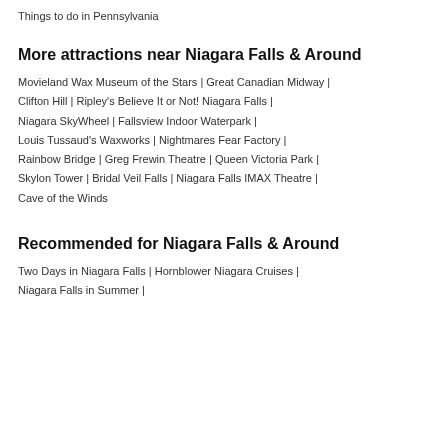Things to do in Pennsylvania
More attractions near Niagara Falls & Around
Movieland Wax Museum of the Stars | Great Canadian Midway | Clifton Hill | Ripley's Believe It or Not! Niagara Falls | Niagara SkyWheel | Fallsview Indoor Waterpark | Louis Tussaud's Waxworks | Nightmares Fear Factory | Rainbow Bridge | Greg Frewin Theatre | Queen Victoria Park | Skylon Tower | Bridal Veil Falls | Niagara Falls IMAX Theatre | Cave of the Winds
Recommended for Niagara Falls & Around
Two Days in Niagara Falls | Hornblower Niagara Cruises | Niagara Falls in Summer |